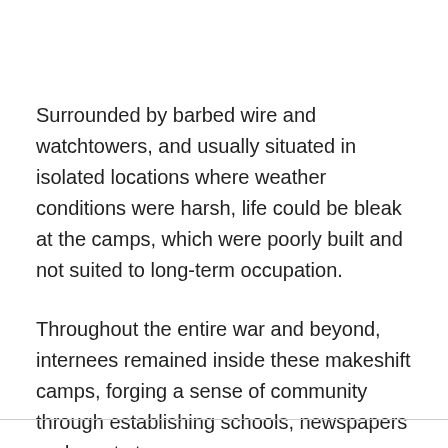Surrounded by barbed wire and watchtowers, and usually situated in isolated locations where weather conditions were harsh, life could be bleak at the camps, which were poorly built and not suited to long-term occupation.
Throughout the entire war and beyond, internees remained inside these makeshift camps, forging a sense of community through establishing schools, newspapers and sports teams.